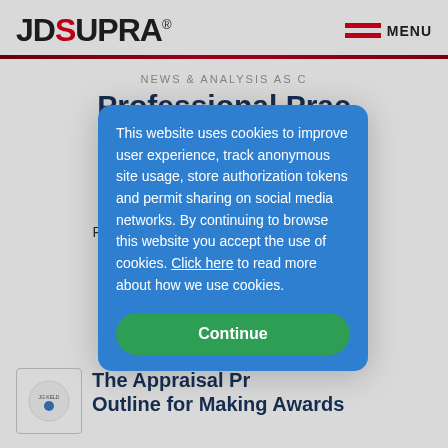[Figure (logo): JDSupra logo with red S letter and registered trademark symbol]
[Figure (other): Menu icon with two red horizontal bars and MENU text]
NEWS & ANALYSIS AS C
Professional Prac Mergers & A
+ Follo
Read need-to-know updates, sis on Professional Practice is professi
This website uses cookies to improve user experience, track anonymous site usage, store authorization tokens and permit sharing on social media networks. By continuing to browse this website you accept the use of cookies. Click here to read more about how we use cookies.
Continue
[Figure (logo): JG Keld firm logo in small box]
The Appraisal Pr Outline for Making Awards